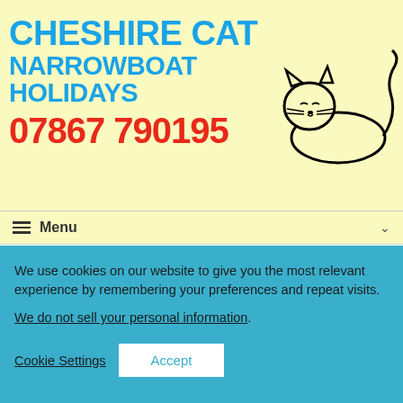CHESHIRE CAT NARROWBOAT HOLIDAYS 07867 790195
[Figure (illustration): Hand-drawn illustration of a Cheshire Cat lying down, black ink outline with sleepy expression, tail curling behind]
≡  Menu  ∨
We use cookies on our website to give you the most relevant experience by remembering your preferences and repeat visits.
We do not sell your personal information.
Cookie Settings   Accept